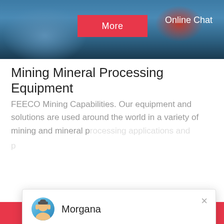[Figure (screenshot): Top banner image showing blue industrial mining equipment with 'More' red button and 'Online Chat' text overlay]
Mining Mineral Processing Equipment
FEECO Mining Capabilities. Our equipment and solutions are used around the world in a variety of mining and mineral p...
[Figure (screenshot): Live chat popup with avatar of Morgana, close button, and message: Hello, I am Morgana, I am very glad to talk with you!]
[Figure (photo): Industrial mining/processing equipment building exterior]
[Figure (photo): Customer service agent with headset, with blue notification badge showing '1', and 'Need questions & suggestion? Chat Now' panel]
Chat Online
Enquire